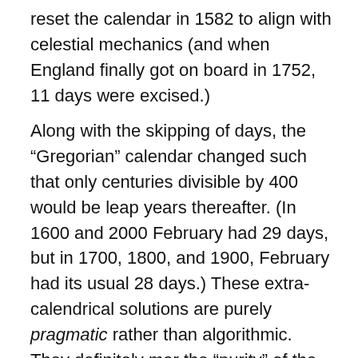reset the calendar in 1582 to align with celestial mechanics (and when England finally got on board in 1752, 11 days were excised.)
Along with the skipping of days, the “Gregorian” calendar changed such that only centuries divisible by 400 would be leap years thereafter. (In 1600 and 2000 February had 29 days, but in 1700, 1800, and 1900, February had its usual 28 days.) These extra-calendrical solutions are purely pragmatic rather than algorithmic. They definitely mar the “purity” of the calendar, but they work! This sort of practical fudging is still done periodically today: “leap seconds” are from time to time inserted into the scheme of things these days. So there is no reason to insist that decades logically have to start on years one. Simply no reason. One cannot cite calendrical consistency, nor mathematical purity, to back up such an insistance. It is